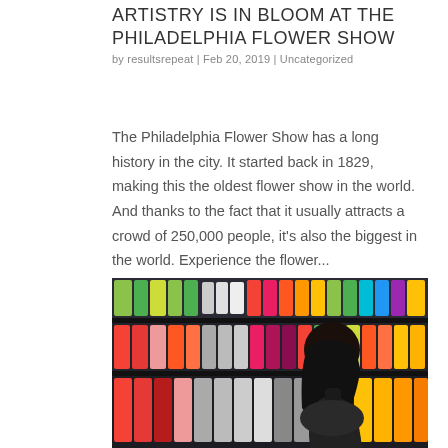ARTISTRY IS IN BLOOM AT THE PHILADELPHIA FLOWER SHOW
by resultsrepeat | Feb 20, 2019 | Uncategorized
The Philadelphia Flower Show has a long history in the city. It started back in 1829, making this the oldest flower show in the world. And thanks to the fact that it usually attracts a crowd of 250,000 people, it's also the biggest in the world. Experience the flower...
[Figure (photo): A person silhouetted against colorful shelves of bottled beverages in a store or supermarket.]